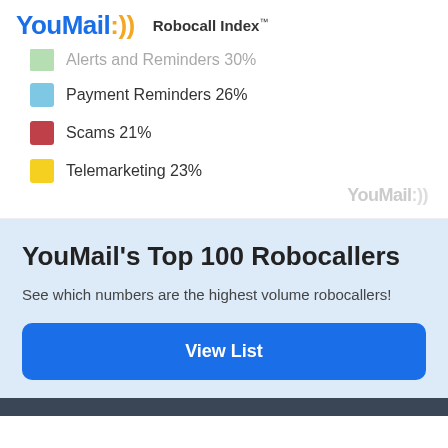YouMail Robocall Index™
Alerts and Reminders 30%
Payment Reminders 26%
Scams 21%
Telemarketing 23%
YouMail's Top 100 Robocallers
See which numbers are the highest volume robocallers!
View List